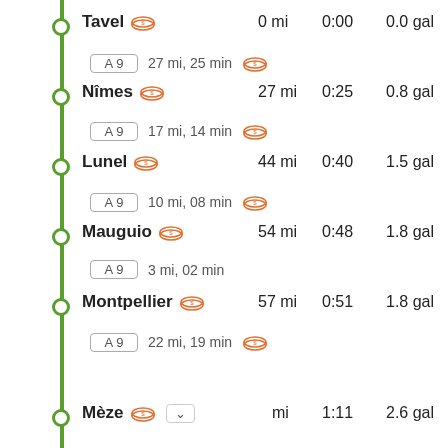Tavel — 0 mi, 0:00, 0.0 gal
Segment: A9, 27 mi, 25 min (toll)
Nîmes — 27 mi, 0:25, 0.8 gal
Segment: A9, 17 mi, 14 min (toll)
Lunel — 44 mi, 0:40, 1.5 gal
Segment: A9, 10 mi, 08 min (toll)
Mauguio — 54 mi, 0:48, 1.8 gal
Segment: A9, 3 mi, 02 min
Montpellier — 57 mi, 0:51, 1.8 gal
Segment: A9, 22 mi, 19 min (toll)
Mèze — 1:11, 2.6 gal